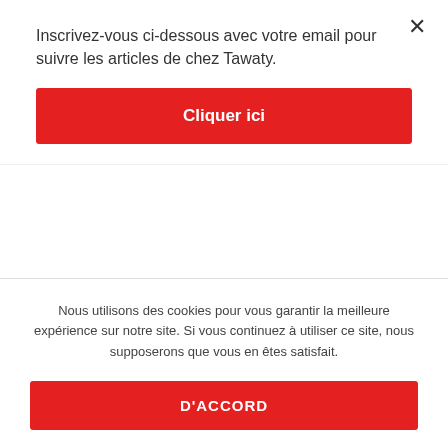Inscrivez-vous ci-dessous avec votre email pour suivre les articles de chez Tawaty.
Cliquer ici
Cambridge+MA+massachusetts you can try these out
Cambridge+United Kingdom click over here now
Cambridge+United Kingdom hookup sites
canada online casino
canada-disabled-dating review
Nous utilisons des cookies pour vous garantir la meilleure expérience sur notre site. Si vous continuez à utiliser ce site, nous supposerons que vous en êtes satisfait.
D'ACCORD